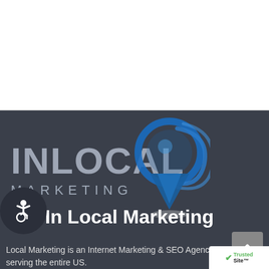[Figure (logo): InLocal Marketing logo with blue 3D location pin graphic on dark background]
In Local Marketing
Local Marketing is an Internet Marketing & SEO Agency with Affordable & Effective Web Solution based in Portland Or serving the entire US.